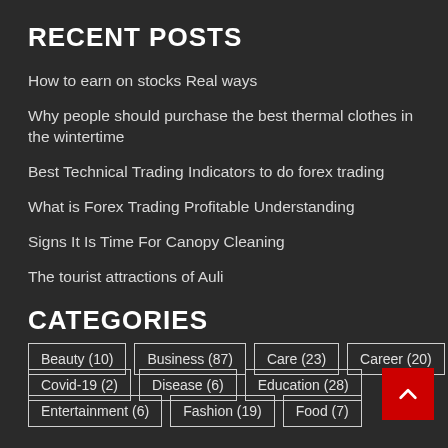RECENT POSTS
How to earn on stocks Real ways
Why people should purchase the best thermal clothes in the wintertime
Best Technical Trading Indicators to do forex trading
What is Forex Trading Profitable Understanding
Signs It Is Time For Canopy Cleaning
The tourist attractions of Auli
CATEGORIES
Beauty (10)
Business (87)
Care (23)
Career (20)
Covid-19 (2)
Disease (6)
Education (28)
Entertainment (6)
Fashion (19)
Food (7)